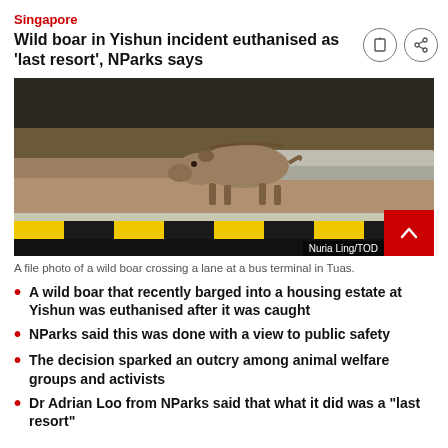Singapore
Wild boar in Yishun incident euthanised as 'last resort', NParks says
[Figure (photo): A wild boar crossing a road at a bus terminal, with yellow and black kerb in the foreground. Photo credit: Nuria Ling/TOD]
A file photo of a wild boar crossing a lane at a bus terminal in Tuas.
A wild boar that recently barged into a housing estate at Yishun was euthanised after it was caught
NParks said this was done with a view to public safety
The decision sparked an outcry among animal welfare groups and activists
Dr Adrian Loo from NParks said that what it did was a "last resort"